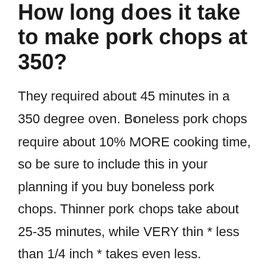How long does it take to make pork chops at 350?
They required about 45 minutes in a 350 degree oven. Boneless pork chops require about 10% MORE cooking time, so be sure to include this in your planning if you buy boneless pork chops. Thinner pork chops take about 25-35 minutes, while VERY thin * less than 1/4 inch * takes even less.
How to make pork chops soft?